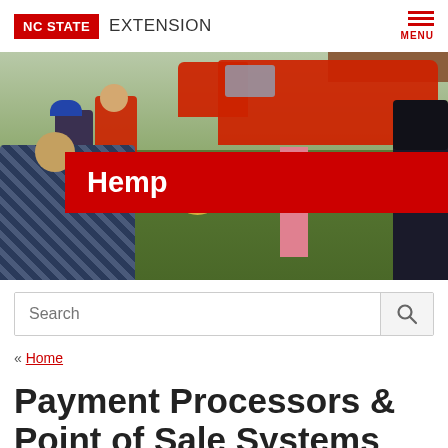NC STATE EXTENSION
[Figure (photo): Outdoor agricultural extension event with people gathered on grass, red pickup truck in background, red banner overlay with 'Hemp' text]
Hemp
Search
« Home
Payment Processors & Point of Sale Systems